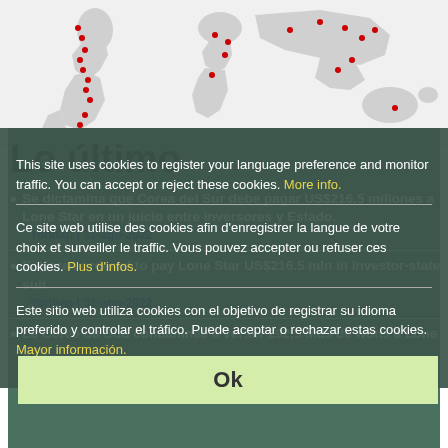[Figure (map): World map with red dots indicating locations, spanning Americas, Europe, Africa, Asia, and Oceania]
Lo último
Se dictamina que Corea del Sur debe pagar US$216.5 millones a Lone Star en un juicio entre inversores y Estado.
Yonhap | 31-ago-2022
S. Korea ordered to pay Lone Star US$216.5 mln in investor-state suit
Yonhap | 31-ago-2022
La Corée du Sud condamnée à verser 292,5 Mds de wons à Lone Star
Yonhap | 31-ago-2022
This site uses cookies to register your language preference and monitor traffic. You can accept or reject these cookies. More info.
Ce site web utilise des cookies afin d'enregistrer la langue de votre choix et surveiller le traffic. Vous pouvez accepter ou refuser ces cookies. Plus d'infos.
Este sitio web utiliza cookies con el objetivo de registrar su idioma preferido y controlar el tráfico. Puede aceptar o rechazar estas cookies. Mayor información.
Ok